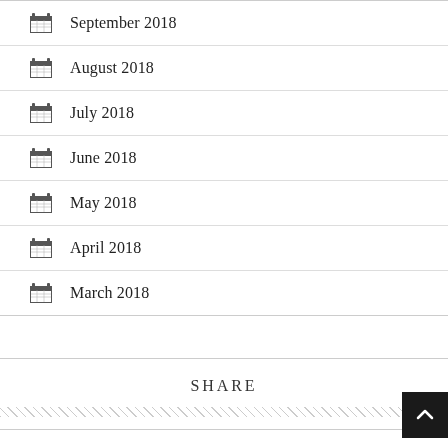September 2018
August 2018
July 2018
June 2018
May 2018
April 2018
March 2018
SHARE